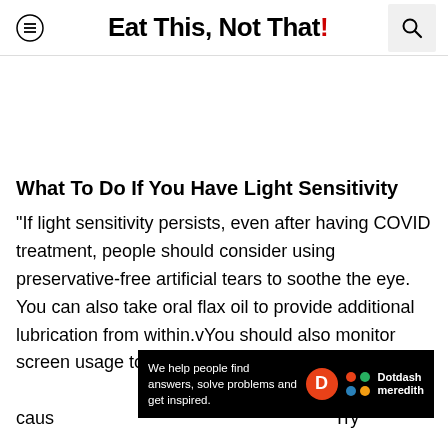Eat This, Not That!
What To Do If You Have Light Sensitivity
"If light sensitivity persists, even after having COVID treatment, people should consider using preservative-free artificial tears to soothe the eye. You can also take oral flax oil to provide additional lubrication from within.vYou should also monitor screen usage too. Focusing on computers and phones can cause... Try
[Figure (infographic): Dotdash Meredith banner overlay: 'We help people find answers, solve problems and get inspired.' with Dotdash Meredith logo]